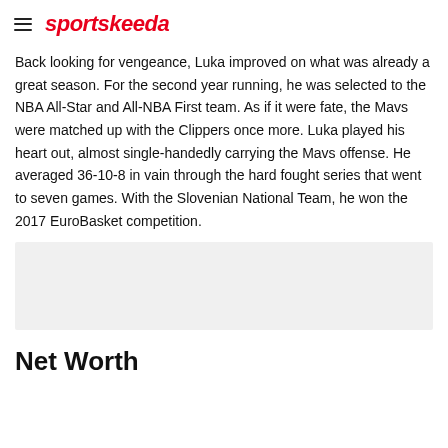sportskeeda
Back looking for vengeance, Luka improved on what was already a great season. For the second year running, he was selected to the NBA All-Star and All-NBA First team. As if it were fate, the Mavs were matched up with the Clippers once more. Luka played his heart out, almost single-handedly carrying the Mavs offense. He averaged 36-10-8 in vain through the hard fought series that went to seven games. With the Slovenian National Team, he won the 2017 EuroBasket competition.
[Figure (other): Advertisement placeholder box with gray background]
Net Worth